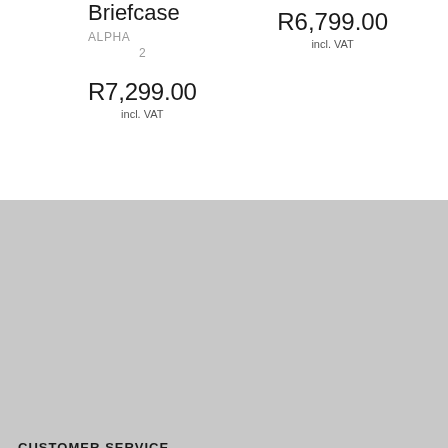Briefcase
ALPHA
2
R7,299.00
incl. VAT
R6,799.00
incl. VAT
CUSTOMER SERVICE
Shipping
Returns
Service & Repairs
Product Information and Warranty
Product Care